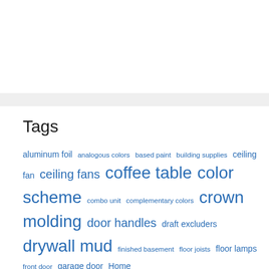Tags
aluminum foil analogous colors based paint building supplies ceiling fan ceiling fans coffee table color scheme combo unit complementary colors crown molding door handles draft excluders drywall mud finished basement floor joists floor lamps front door garage door Home improvement project improvement projects kitchen cabinets living space luggage rack